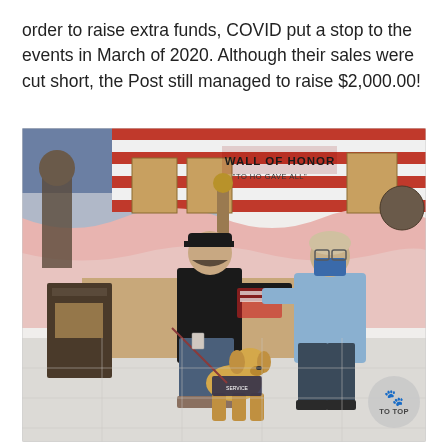order to raise extra funds, COVID put a stop to the events in March of 2020. Although their sales were cut short, the Post still managed to raise $2,000.00!
[Figure (photo): Two people standing in front of a Wall of Honor display with an American flag backdrop, exchanging a check, with a service dog in a vest sitting at their feet. A 'TO TOP' button overlay appears in the bottom right corner.]